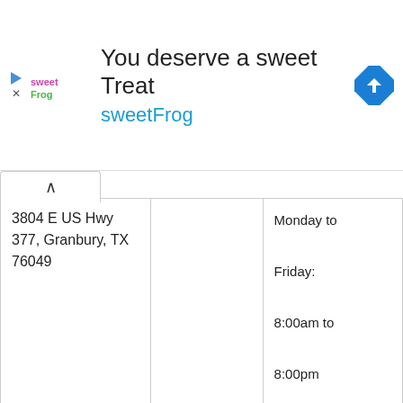[Figure (screenshot): Ad banner: sweetFrog logo and text 'You deserve a sweet Treat sweetFrog' with navigation arrow icon]
| Address | Phone | Hours |
| --- | --- | --- |
| 3804 E US Hwy 377, Granbury, TX 76049 | +18175792512 | Monday to Friday:
8:00am to 8:00pm
Saturday:
9:00am to 6:00pm
Sunday:
10:00am to 5:00pm |
|  |  | Mo... |